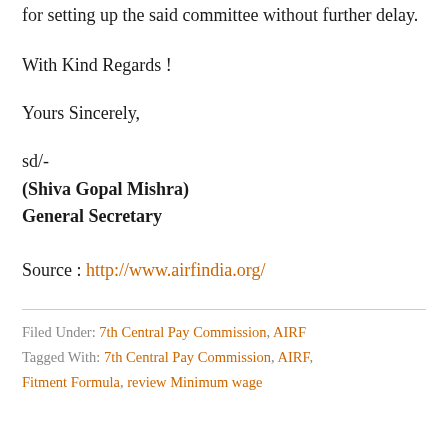for setting up the said committee without further delay.
With Kind Regards !
Yours Sincerely,
sd/-
(Shiva Gopal Mishra)
General Secretary
Source : http://www.airfindia.org/
Filed Under: 7th Central Pay Commission, AIRF
Tagged With: 7th Central Pay Commission, AIRF, Fitment Formula, review Minimum wage